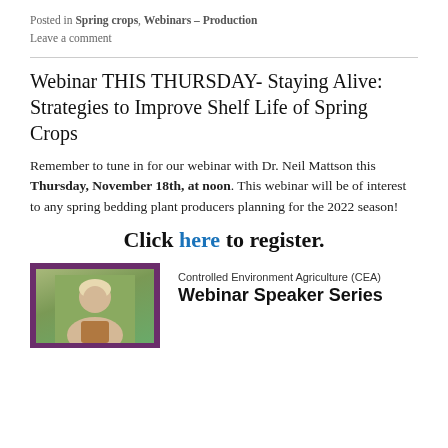Posted in Spring crops, Webinars – Production
Leave a comment
Webinar THIS THURSDAY- Staying Alive: Strategies to Improve Shelf Life of Spring Crops
Remember to tune in for our webinar with Dr. Neil Mattson this Thursday, November 18th, at noon. This webinar will be of interest to any spring bedding plant producers planning for the 2022 season!
Click here to register.
[Figure (photo): Headshot photo of webinar speaker on purple background]
Controlled Environment Agriculture (CEA)
Webinar Speaker Series